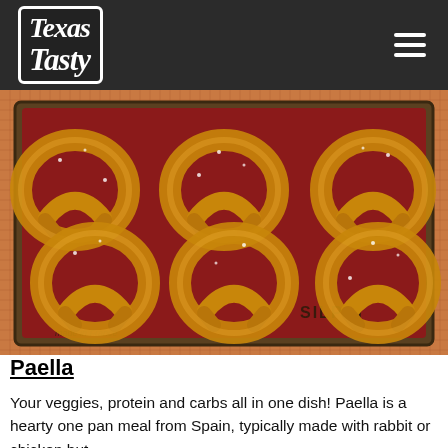Texas Tasty
[Figure (photo): Six golden-brown soft pretzels arranged on a red silicone baking mat (SILPAT, made in France) on a baking sheet, placed on an orange plaid cloth. The pretzels are sprinkled with coarse salt.]
Paella
Your veggies, protein and carbs all in one dish! Paella is a hearty one pan meal from Spain, typically made with rabbit or chicken but